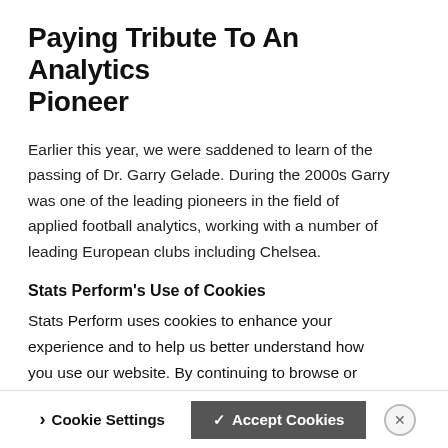Paying Tribute To An Analytics Pioneer
Earlier this year, we were saddened to learn of the passing of Dr. Garry Gelade. During the 2000s Garry was one of the leading pioneers in the field of applied football analytics, working with a number of leading European clubs including Chelsea.
Stats Perform's Use of Cookies
Stats Perform uses cookies to enhance your experience and to help us better understand how you use our website. By continuing to browse or closing this banner, you indicate your agreement.. To set your own preferences click "Cookie Settings" and to learn more about the cookies we use see our Cookie Policy
Cookie Settings
✓ Accept Cookies